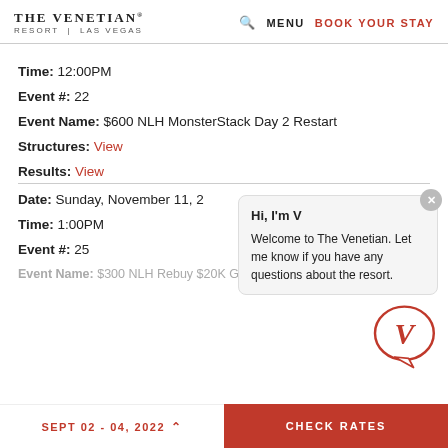THE VENETIAN RESORT | LAS VEGAS — MENU BOOK YOUR STAY
Time: 12:00PM
Event #: 22
Event Name: $600 NLH MonsterStack Day 2 Restart
Structures: View
Results: View
Date: Sunday, November 11, 2
Time: 1:00PM
Event #: 25
Event Name: $300 NLH Rebuy $20K GTD (1Day)
[Figure (other): Chatbot popup overlay showing 'Hi, I'm V' and 'Welcome to The Venetian. Let me know if you have any questions about the resort.' with a red V logo in a speech bubble]
SEPT 02 - 04, 2022  CHECK RATES